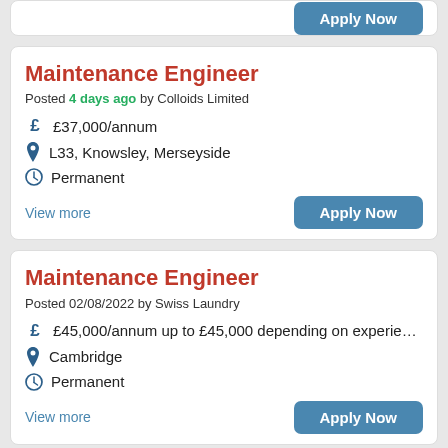[Figure (screenshot): Partial job listing card showing only an Apply Now button at top]
Maintenance Engineer
Posted 4 days ago by Colloids Limited
£37,000/annum
L33, Knowsley, Merseyside
Permanent
View more
Maintenance Engineer
Posted 02/08/2022 by Swiss Laundry
£45,000/annum up to £45,000 depending on experie…
Cambridge
Permanent
View more